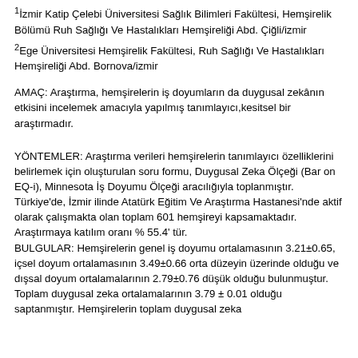¹İzmir Katip Çelebi Üniversitesi Sağlık Bilimleri Fakültesi, Hemşirelik Bölümü Ruh Sağlığı Ve Hastalıkları Hemşireliği Abd. Çiğli/izmir
²Ege Üniversitesi Hemşirelik Fakültesi, Ruh Sağlığı Ve Hastalıkları Hemşireliği Abd. Bornova/izmir
AMAÇ: Araştırma, hemşirelerin iş doyumların da duygusal zekânın etkisini incelemek amacıyla yapılmış tanımlayıcı,kesitsel bir araştırmadır.
YÖNTEMLER: Araştırma verileri hemşirelerin tanımlayıcı özelliklerini belirlemek için oluşturulan soru formu, Duygusal Zeka Ölçeği (Bar on EQ-i), Minnesota İş Doyumu Ölçeği aracılığıyla toplanmıştır. Türkiye'de, İzmir ilinde Atatürk Eğitim Ve Araştırma Hastanesi'nde aktif olarak çalışmakta olan toplam 601 hemşireyi kapsamaktadır. Araştırmaya katılım oranı % 55.4' tür.
BULGULAR: Hemşirelerin genel iş doyumu ortalamasının 3.21±0.65, içsel doyum ortalamasının 3.49±0.66 orta düzeyin üzerinde olduğu ve dışsal doyum ortalamalarının 2.79±0.76 düşük olduğu bulunmuştur. Toplam duygusal zeka ortalamalarının 3.79 ± 0.01 olduğu saptanmıştır. Hemşirelerin toplam duygusal zeka